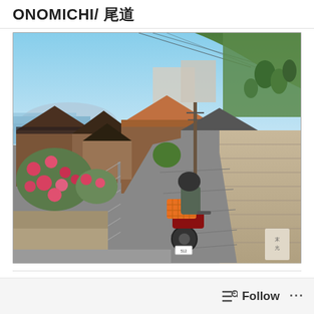ONOMICHI/ 尾道
[Figure (photo): A narrow hillside alley in Onomichi, Japan, with a delivery person riding a motorbike with an orange crate on the back, traditional Japanese tiled-roof houses and flowering camellias visible, overlooking the sea and mountains.]
Follow